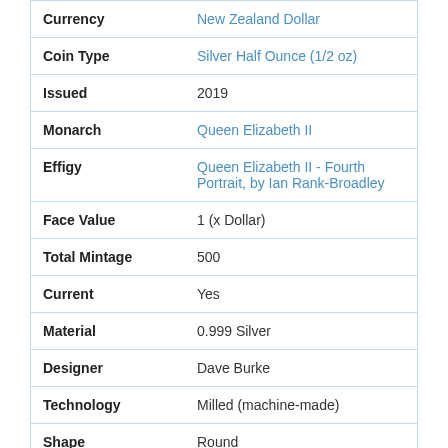| Field | Value |
| --- | --- |
| Currency | New Zealand Dollar |
| Coin Type | Silver Half Ounce (1/2 oz) |
| Issued | 2019 |
| Monarch | Queen Elizabeth II |
| Effigy | Queen Elizabeth II - Fourth Portrait, by Ian Rank-Broadley |
| Face Value | 1 (x Dollar) |
| Total Mintage | 500 |
| Current | Yes |
| Material | 0.999 Silver |
| Designer | Dave Burke |
| Technology | Milled (machine-made) |
| Shape | Round |